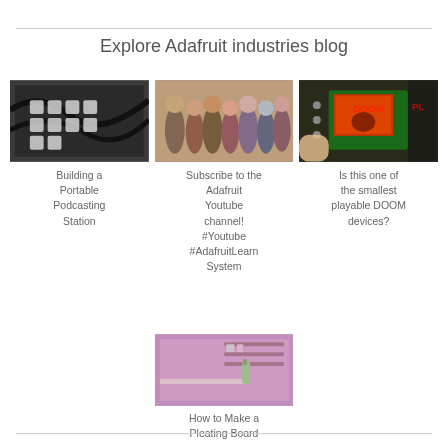Explore Adafruit industries blog
[Figure (photo): Electronic device with black pads/buttons in a box with cables]
Building a Portable Podcasting Station
[Figure (photo): Group of people posing together for a photo]
Subscribe to the Adafruit Youtube channel! #Youtube #AdafruitLearnSystem
[Figure (photo): Small circuit board displaying DOOM game held in hand]
Is this one of the smallest playable DOOM devices?
[Figure (photo): Room with shelves and a spray bottle on a table, pink lighting]
How to Make a Pleating Board